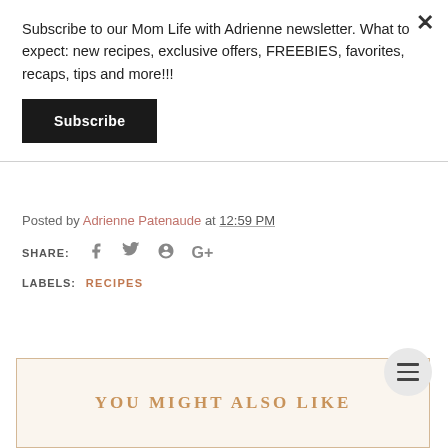Subscribe to our Mom Life with Adrienne newsletter. What to expect: new recipes, exclusive offers, FREEBIES, favorites, recaps, tips and more!!!
Subscribe
Posted by Adrienne Patenaude at 12:59 PM
SHARE:
LABELS: RECIPES
YOU MIGHT ALSO LIKE